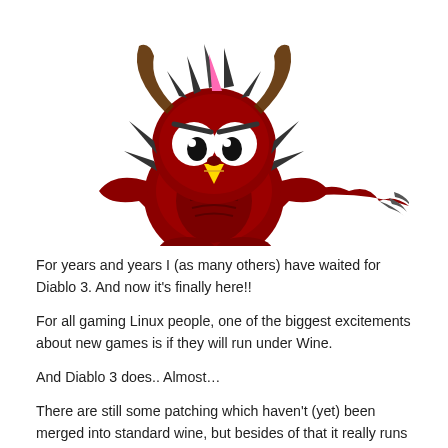[Figure (illustration): A cartoon/mascot illustration of a red devil-themed Angry Birds style character with horns, wings, a yellow beak, white eyes, and a spiky tail, sitting in a relaxed pose against a white background.]
For years and years I (as many others) have waited for Diablo 3. And now it's finally here!!
For all gaming Linux people, one of the biggest excitements about new games is if they will run under Wine.
And Diablo 3 does.. Almost…
There are still some patching which haven't (yet) been merged into standard wine, but besides of that it really runs well.
If you want to follow the way I run Diablo 3 on my Alienware X11M,